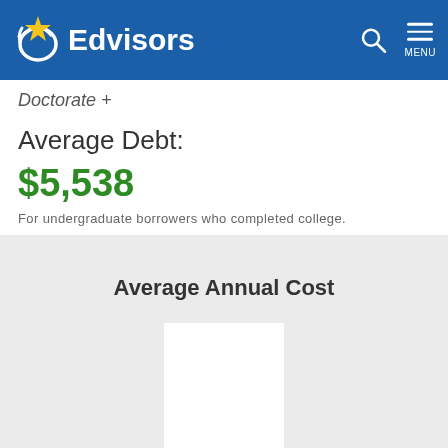Edvisors
Doctorate +
Average Debt:
$5,538
For undergraduate borrowers who completed college.
[Figure (bar-chart): Partially visible bar chart showing Average Annual Cost with a white bar on gray background. Bar data values not fully visible.]